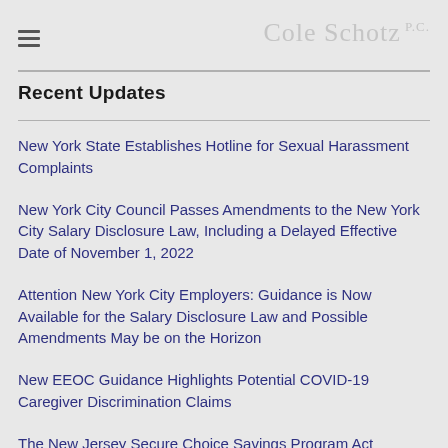Cole Schotz P.C.
Recent Updates
New York State Establishes Hotline for Sexual Harassment Complaints
New York City Council Passes Amendments to the New York City Salary Disclosure Law, Including a Delayed Effective Date of November 1, 2022
Attention New York City Employers: Guidance is Now Available for the Salary Disclosure Law and Possible Amendments May be on the Horizon
New EEOC Guidance Highlights Potential COVID-19 Caregiver Discrimination Claims
The New Jersey Secure Choice Savings Program Act Deadline Nears